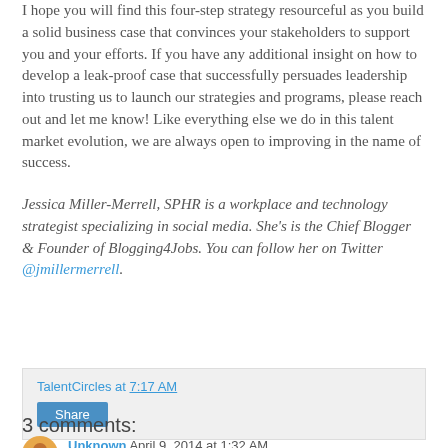I hope you will find this four-step strategy resourceful as you build a solid business case that convinces your stakeholders to support you and your efforts. If you have any additional insight on how to develop a leak-proof case that successfully persuades leadership into trusting us to launch our strategies and programs, please reach out and let me know! Like everything else we do in this talent market evolution, we are always open to improving in the name of success.
Jessica Miller-Merrell, SPHR is a workplace and technology strategist specializing in social media. She's is the Chief Blogger & Founder of Blogging4Jobs. You can follow her on Twitter @jmillermerrell.
TalentCircles at 7:17 AM
Share
3 comments:
Unknown April 9, 2014 at 1:32 AM